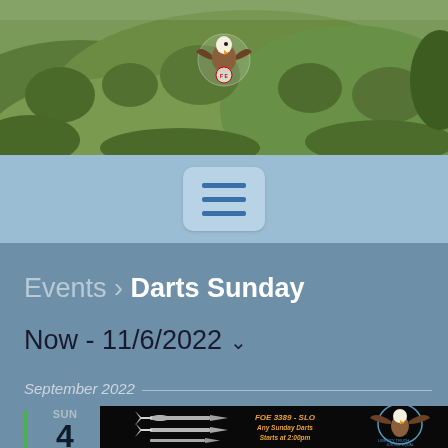[Figure (photo): Header banner with green rolling hills landscape and FOE eagle logo centered at top]
[Figure (screenshot): Light blue navigation bar with hamburger menu button (three horizontal lines)]
Events › Darts Sunday
Now - 11/6/2022 ˅
September 2022
SUN 4
[Figure (photo): Event poster on black background: silver darts on left, FOE 3389-SLO Any Sunday Darts Starts at 2:00pm text in orange italic center, eagle with circular badge on right]